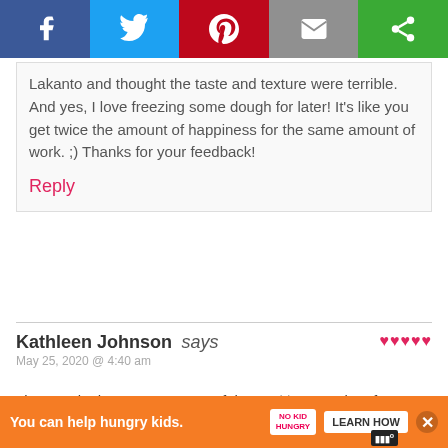[Figure (infographic): Social share bar with Facebook, Twitter, Pinterest, Email, and another share button]
Lakanto and thought the taste and texture were terrible. And yes, I love freezing some dough for later! It's like you get twice the amount of happiness for the same amount of work. ;) Thanks for your feedback!
Reply
Kathleen Johnson says
May 25, 2020 @ 4:40 am
♥♥♥♥♥
I just made these as I ran out of the cookies I made a few days ago. I made the this afternoon and they are GREAT. Come to find out the cookies I ran out of happened to be
[Figure (infographic): Scroll to top overlay widget]
[Figure (infographic): Advertisement bar: You can help hungry kids. No Kid Hungry. LEARN HOW]